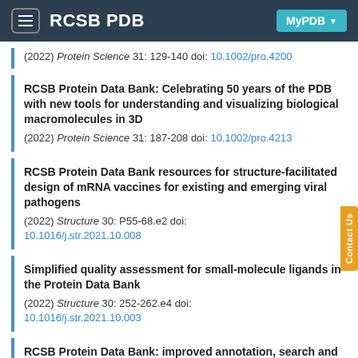RCSB PDB | MyPDB
(2022) Protein Science 31: 129-140 doi: 10.1002/pro.4200
RCSB Protein Data Bank: Celebrating 50 years of the PDB with new tools for understanding and visualizing biological macromolecules in 3D
(2022) Protein Science 31: 187-208 doi: 10.1002/pro.4213
RCSB Protein Data Bank resources for structure-facilitated design of mRNA vaccines for existing and emerging viral pathogens
(2022) Structure 30: P55-68.e2 doi: 10.1016/j.str.2021.10.008
Simplified quality assessment for small-molecule ligands in the Protein Data Bank
(2022) Structure 30: 252-262.e4 doi: 10.1016/j.str.2021.10.003
RCSB Protein Data Bank: improved annotation, search and visualization of membrane protein structures archived in the PDB